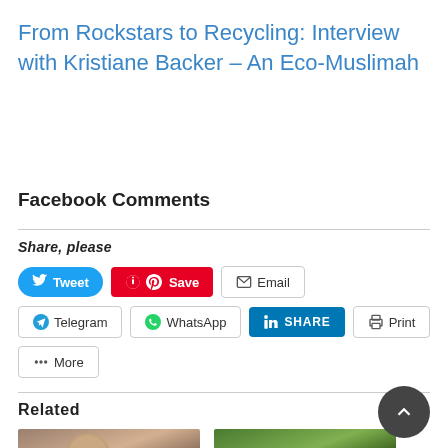From Rockstars to Recycling: Interview with Kristiane Backer – An Eco-Muslimah
Facebook Comments
Share, please
[Figure (screenshot): Social sharing buttons: Tweet, Save (Pinterest), Email, Telegram, WhatsApp, LinkedIn SHARE, Print, More]
Related
[Figure (photo): Two related article thumbnail images: a woman's portrait and a green hillside scene]